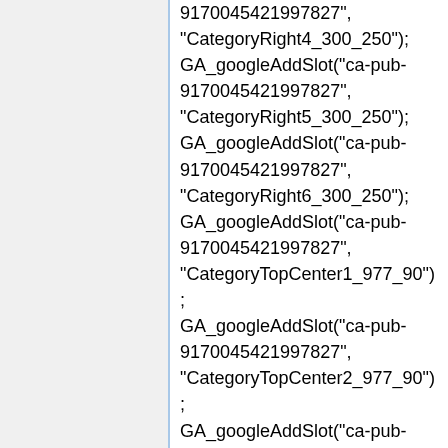9170045421997827", "CategoryRight4_300_250"); GA_googleAddSlot("ca-pub-9170045421997827", "CategoryRight5_300_250"); GA_googleAddSlot("ca-pub-9170045421997827", "CategoryRight6_300_250"); GA_googleAddSlot("ca-pub-9170045421997827", "CategoryTopCenter1_977_90"); GA_googleAddSlot("ca-pub-9170045421997827", "CategoryTopCenter2_977_90"); GA_googleAddSlot("ca-pub-9170045421997827", "CategoryTopCenter3_977_90"); GA_googleAddSlot("ca-pub-9170045421997827", "CategoryTopCenter4_977_90");